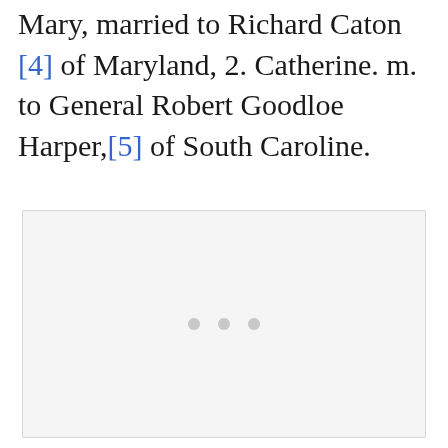Mary, married to Richard Caton [4] of Maryland, 2. Catherine. m. to General Robert Goodloe Harper,[5] of South Caroline.
[Figure (other): A large light gray placeholder image box with three small gray dots centered in the middle, indicating a loading or unavailable image.]